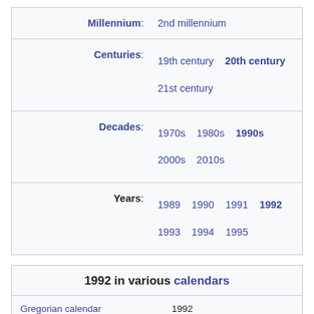| Label | Value |
| --- | --- |
| Millennium: | 2nd millennium |
| Centuries: | 19th century  20th century
21st century |
| Decades: | 1970s  1980s  1990s
2000s  2010s |
| Years: | 1989  1990  1991  1992
1993  1994  1995 |
| Calendar | Value |
| --- | --- |
| 1992 in various calendars |  |
| Gregorian calendar | 1992
MCMXCII |
| Ab urbe condita | 2745 |